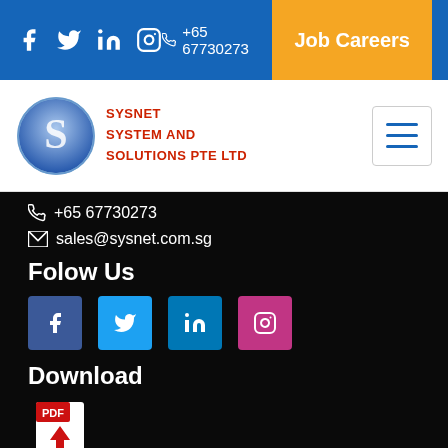Social icons | +65 67730273 | Job Careers
[Figure (logo): Sysnet System and Solutions Pte Ltd logo with circular blue S emblem]
+65 67730273
sales@sysnet.com.sg
Folow Us
[Figure (infographic): Social media buttons: Facebook (blue), Twitter (cyan), LinkedIn (blue), Instagram (pink)]
Download
[Figure (illustration): Adobe PDF download icon]